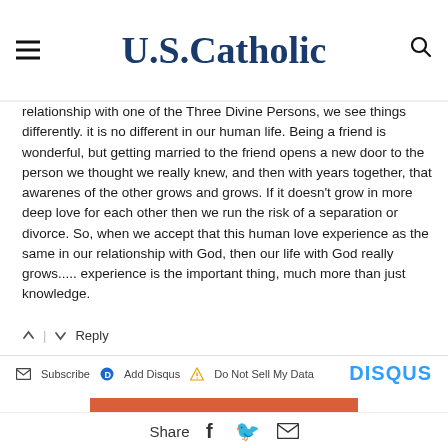U.S. Catholic
relationship with one of the Three Divine Persons, we see things differently. it is no different in our human life. Being a friend is wonderful, but getting married to the friend opens a new door to the person we thought we really knew, and then with years together, that awarenes of the other grows and grows. If it doesn't grow in more deep love for each other then we run the risk of a separation or divorce. So, when we accept that this human love experience as the same in our relationship with God, then our life with God really grows..... experience is the important thing, much more than just knowledge.
↑ | ↓ Reply
✉ Subscribe  Disqus  Add Disqus  ⚠ Do Not Sell My Data  DISQUS
[Figure (other): A NEW PODCAST FROM U.S. CATHOLIC banner in orange/red]
Share  f  🐦  ✉